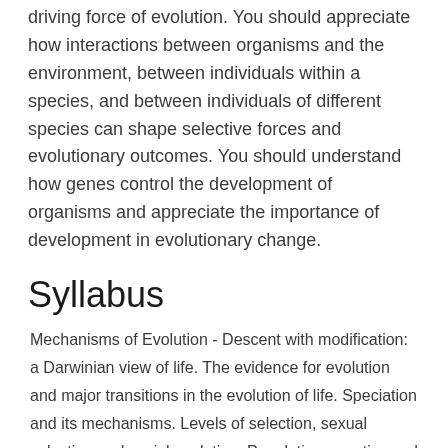driving force of evolution. You should appreciate how interactions between organisms and the environment, between individuals within a species, and between individuals of different species can shape selective forces and evolutionary outcomes. You should understand how genes control the development of organisms and appreciate the importance of development in evolutionary change.
Syllabus
Mechanisms of Evolution - Descent with modification: a Darwinian view of life. The evidence for evolution and major transitions in the evolution of life. Speciation and its mechanisms. Levels of selection, sexual selection and social evolution. Population genetics and genetic variation, Hardy-Weinberg equilibrium, processes that change genotype and allele frequencies, evolution at the molecular level and genome evolution. Human evolution: evidence from ancient genomes.